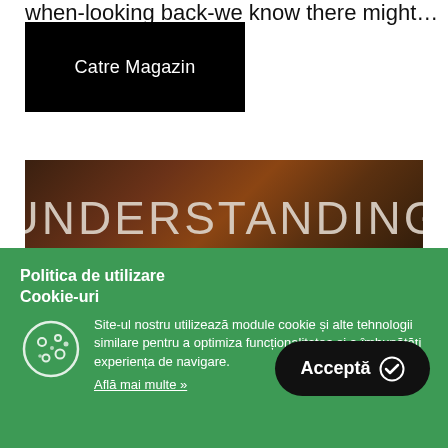when-looking back-we know there might…
[Figure (screenshot): Black button with white text 'Catre Magazin']
[Figure (screenshot): Dark brown textured banner with the word UNDERSTANDING in large light serif-style letters]
Politica de utilizare Cookie-uri
Site-ul nostru utilizează module cookie și alte tehnologii similare pentru a optimiza funcționalitatea si a îmbunătăți experiența de navigare.
Află mai multe »
[Figure (screenshot): Black rounded button with white text 'Acceptă' and a checkmark icon]